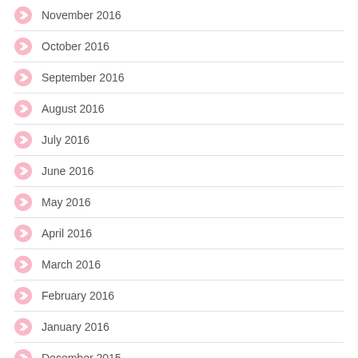November 2016
October 2016
September 2016
August 2016
July 2016
June 2016
May 2016
April 2016
March 2016
February 2016
January 2016
December 2015
November 2015
October 2015